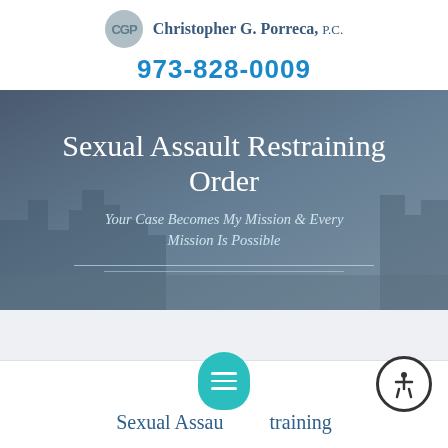Christopher G. Porreca, P.C.
973-828-0009
[Figure (screenshot): Hero banner with dark blue-grey cityscape background overlay, large white serif title 'Sexual Assault Restraining Order', italic subtitle 'Your Case Becomes My Mission & Every Mission Is Possible', and two decorative horizontal lines]
Sexual Assault Restraining
Chat and Accessibility floating buttons